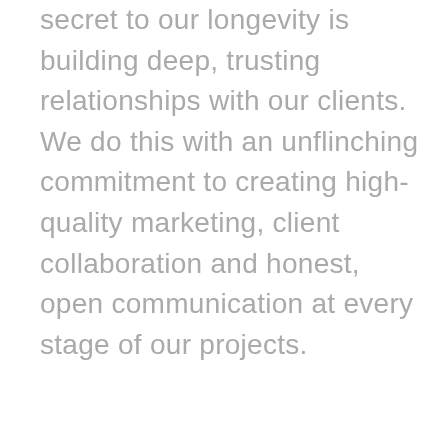secret to our longevity is building deep, trusting relationships with our clients. We do this with an unflinching commitment to creating high-quality marketing, client collaboration and honest, open communication at every stage of our projects.